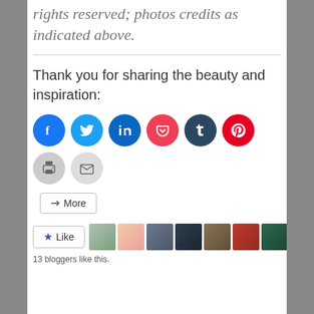rights reserved; photos credits as indicated above.
Thank you for sharing the beauty and inspiration:
[Figure (other): Row of social sharing icon buttons: Facebook, Twitter, LinkedIn, Pocket, Tumblr, Pinterest, Print, Email]
More
Like
13 bloggers like this.